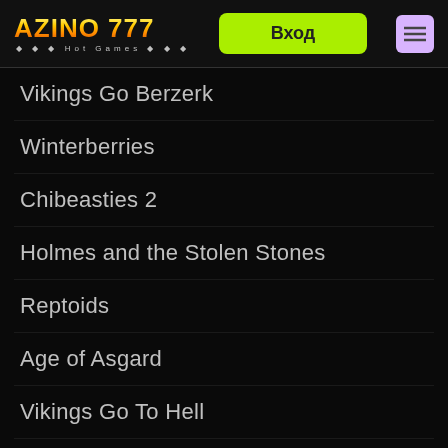[Figure (logo): Azino 777 Hot Games logo with orange-yellow gradient text on dark background]
Vikings Go Berzerk
Winterberries
Chibeasties 2
Holmes and the Stolen Stones
Reptoids
Age of Asgard
Vikings Go To Hell
Avatars Gateway Guardians
Power Plant
Rainbow Re...